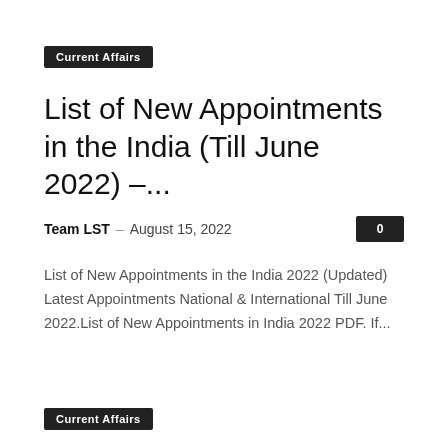Current Affairs
List of New Appointments in the India (Till June 2022) –...
Team LST – August 15, 2022   0
List of New Appointments in the India 2022 (Updated) Latest Appointments National & International Till June 2022.List of New Appointments in India 2022 PDF. If...
Current Affairs